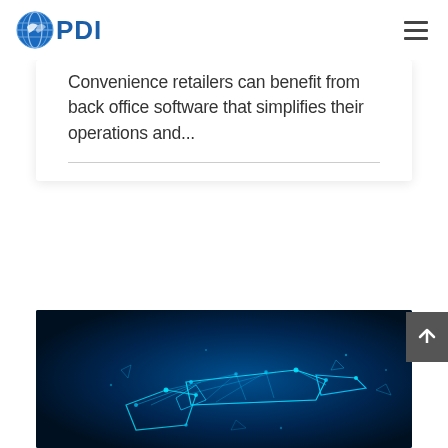PDI logo and navigation menu
Convenience retailers can benefit from back office software that simplifies their operations and...
[Figure (photo): Digital wireframe geometric illustration of a fuel pump nozzle on a dark blue background with glowing cyan triangular mesh lines and connection points, suggesting a futuristic or technology concept]